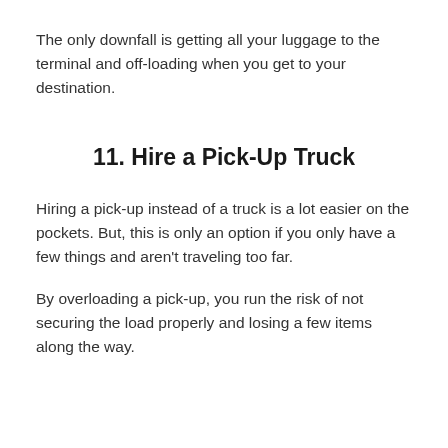The only downfall is getting all your luggage to the terminal and off-loading when you get to your destination.
11. Hire a Pick-Up Truck
Hiring a pick-up instead of a truck is a lot easier on the pockets. But, this is only an option if you only have a few things and aren't traveling too far.
By overloading a pick-up, you run the risk of not securing the load properly and losing a few items along the way.